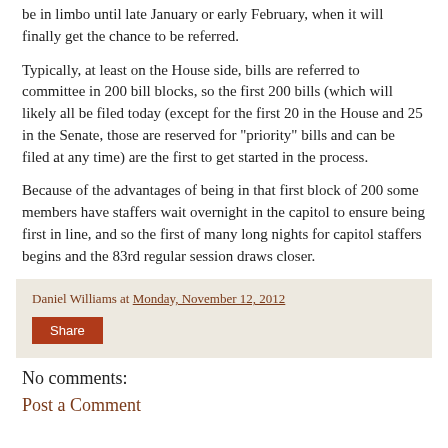be in limbo until late January or early February, when it will finally get the chance to be referred.
Typically, at least on the House side, bills are referred to committee in 200 bill blocks, so the first 200 bills (which will likely all be filed today (except for the first 20 in the House and 25 in the Senate, those are reserved for "priority" bills and can be filed at any time) are the first to get started in the process.
Because of the advantages of being in that first block of 200 some members have staffers wait overnight in the capitol to ensure being first in line, and so the first of many long nights for capitol staffers begins and the 83rd regular session draws closer.
Daniel Williams at Monday, November 12, 2012
Share
No comments:
Post a Comment